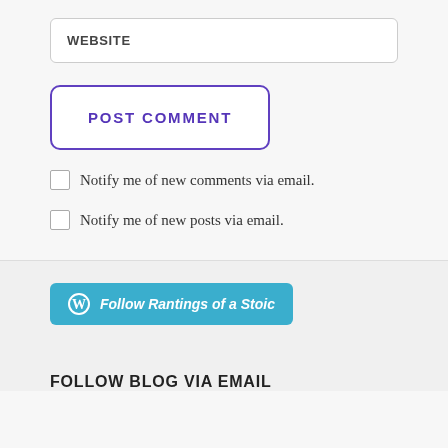WEBSITE
POST COMMENT
Notify me of new comments via email.
Notify me of new posts via email.
[Figure (other): WordPress follow button: 'Follow Rantings of a Stoic' in teal/blue color with WordPress logo]
FOLLOW BLOG VIA EMAIL